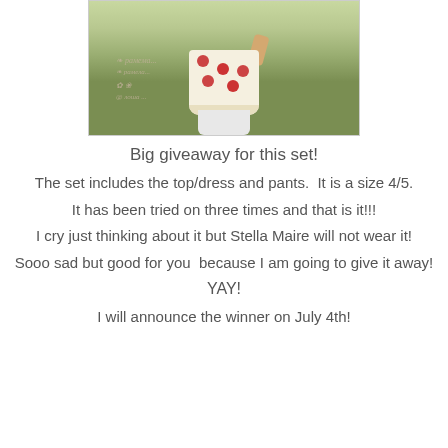[Figure (photo): Child wearing a floral cream-colored top/dress with white pants, standing on green grass. Decorative watermark text overlay visible.]
Big giveaway for this set!
The set includes the top/dress and pants.  It is a size 4/5.
It has been tried on three times and that is it!!!
I cry just thinking about it but Stella Maire will not wear it!
Sooo sad but good for you  because I am going to give it away!
YAY!
I will announce the winner on July 4th!